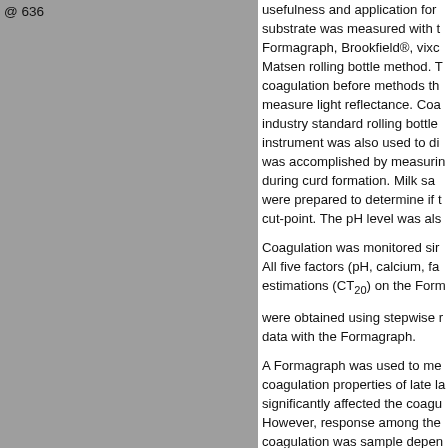[Figure (photo): Gray rectangular image occupying the left column of the page, partially cropped. A label '@ 636' appears at the top left corner of the image area.]
usefulness and application for substrate was measured with the Formagraph, Brookfield®, vixco Matsen rolling bottle method. T coagulation before methods th measure light reflectance. Coa industry standard rolling bottle instrument was also used to di was accomplished by measuri during curd formation. Milk sa were prepared to determine if cut-point. The pH level was als
Coagulation was monitored si All five factors (pH, calcium, fa estimations (CT20) on the Form were obtained using stepwise data with the Formagraph.
A Formagraph was used to me coagulation properties of late la significantly affected the coagu However, response among the coagulation was sample depen data could not be used as an i